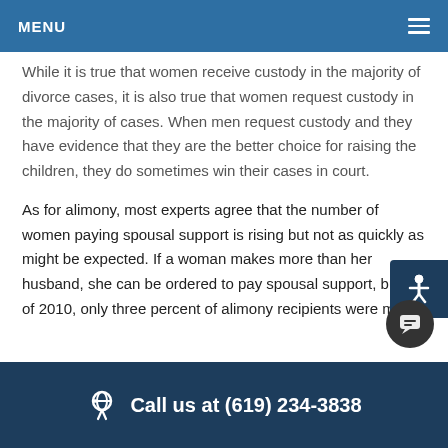MENU
While it is true that women receive custody in the majority of divorce cases, it is also true that women request custody in the majority of cases. When men request custody and they have evidence that they are the better choice for raising the children, they do sometimes win their cases in court.
As for alimony, most experts agree that the number of women paying spousal support is rising but not as quickly as might be expected. If a woman makes more than her husband, she can be ordered to pay spousal support, but as of 2010, only three percent of alimony recipients were men.
Call us at (619) 234-3838